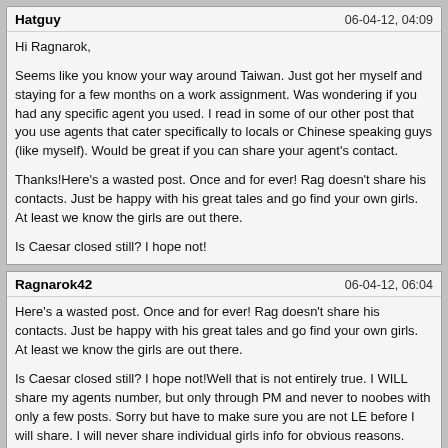Hatguy | 06-04-12, 04:09
Hi Ragnarok,

Seems like you know your way around Taiwan. Just got her myself and staying for a few months on a work assignment. Was wondering if you had any specific agent you used. I read in some of our other post that you use agents that cater specifically to locals or Chinese speaking guys (like myself). Would be great if you can share your agent's contact.

Thanks!Here’s a wasted post. Once and for ever! Rag doesn’t share his contacts. Just be happy with his great tales and go find your own girls. At least we know the girls are out there.

Is Caesar closed still? I hope not!
Ragnarok42 | 06-04-12, 06:04
Here’s a wasted post. Once and for ever! Rag doesn’t share his contacts. Just be happy with his great tales and go find your own girls. At least we know the girls are out there.

Is Caesar closed still? I hope not!Well that is not entirely true. I WILL share my agents number, but only through PM and never to noobes with only a few posts. Sorry but have to make sure you are not LE before I will share. I will never share individual girls info for obvious reasons.

And Ceasars is open, no worries.
Ragnarok42 | 06-04-12, 06:06
Hi Rag, tried very hard to find an old post that I made in the Photo page of Philippines. Shows 3 girls wearing same nurse uniform and and another 3 girls wearing same flgiht attendant type uniform. Was under the heading " Re-use Re- cycle ". Can’t locate it, but it sounds exactly like your weekend! Rest well, you deserve it. I remember reading that and amusing you to death.